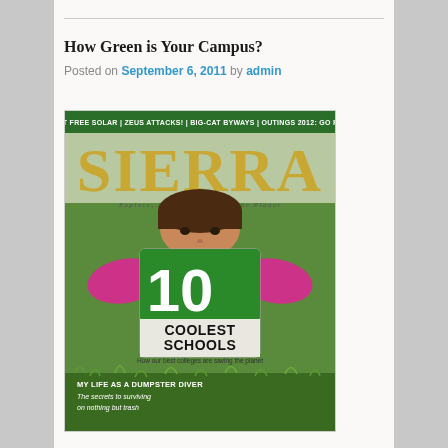How Green is Your Campus?
Posted on September 6, 2011 by admin
[Figure (photo): Cover of Sierra magazine featuring a child holding a sign reading '10 Coolest Schools - How our best colleges are saving the planet', with text 'GET FREE SOLAR | ZEUS ATTACKS! | BIG-CAT BYWAYS | OUTINGS 2012: GO FAR' at the top, and 'MY LIFE AS A DUMPSTER DIVER - The secrets to surviving on nothing but trash' at the bottom. Sierra magazine subtitle: Explore, Enjoy and Protect the Planet.]